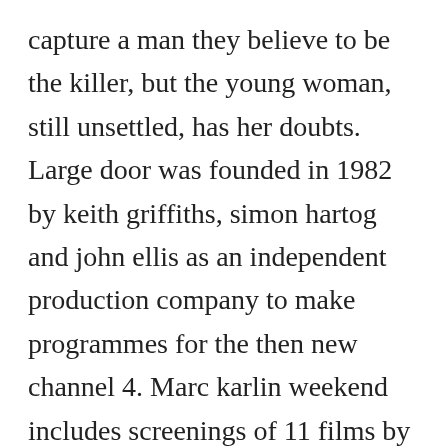capture a man they believe to be the killer, but the young woman, still unsettled, has her doubts. Large door was founded in 1982 by keith griffiths, simon hartog and john ellis as an independent production company to make programmes for the then new channel 4. Marc karlin weekend includes screenings of 11 films by marc karlin including talks and discussions in collaboration with the marc karlin archive, 46 march at the 2016 av festival in newcastle, sunderland and middlesbrough. This edited collection will